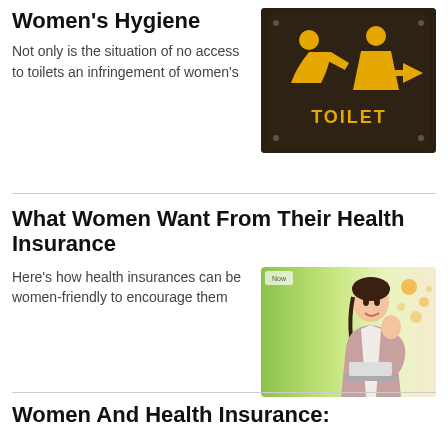Women's Hygiene
Not only is the situation of no access to toilets an infringement of women's
[Figure (photo): A dark toilet sign with yellow icons showing a person bowing and a woman figure, with a yellow arrow pointing right and the word TOILET in yellow text]
What Women Want From Their Health Insurance
Here's how health insurances can be women-friendly to encourage them
[Figure (photo): A smiling young Asian woman in a pink blazer sitting at a desk with a laptop, with a bright green and floral background]
Women And Health Insurance: